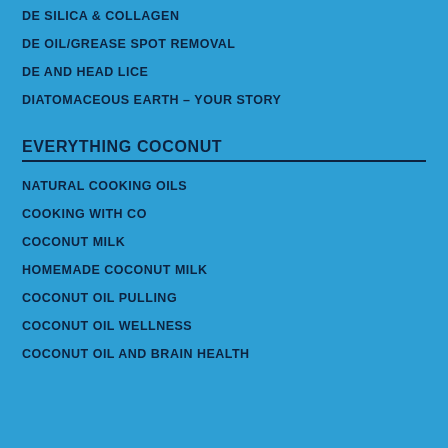DE SILICA & COLLAGEN
DE OIL/GREASE SPOT REMOVAL
DE AND HEAD LICE
DIATOMACEOUS EARTH – YOUR STORY
EVERYTHING COCONUT
NATURAL COOKING OILS
COOKING WITH CO
COCONUT MILK
HOMEMADE COCONUT MILK
COCONUT OIL PULLING
COCONUT OIL WELLNESS
COCONUT OIL AND BRAIN HEALTH